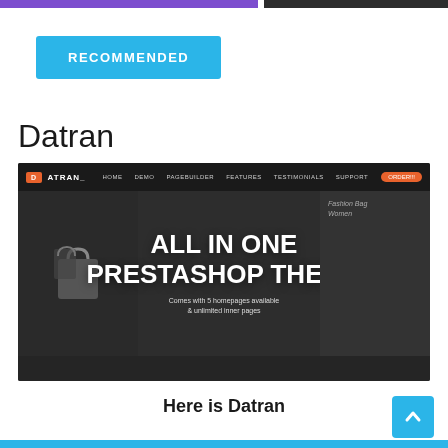[Figure (screenshot): Top navigation bar area with purple and dark segments]
RECOMMENDED
Datran
[Figure (screenshot): Datran PrestaShop theme website screenshot showing navigation bar, 'ALL IN ONE PRESTASHOP THEME' hero text, and 'Comes with 5 homepages available & unlimited inner pages' subtitle]
Here is Datran